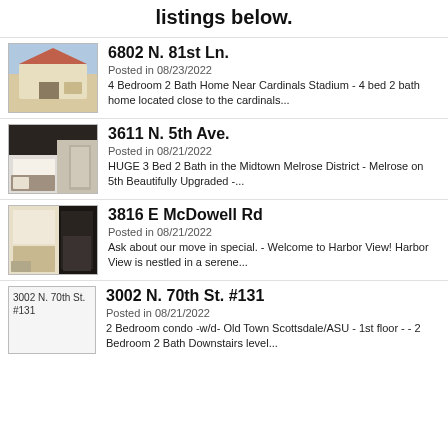listings below.
6802 N. 81st Ln. | Posted in 08/23/2022 | 4 Bedroom 2 Bath Home Near Cardinals Stadium - 4 bed 2 bath home located close to the cardinals...
3611 N. 5th Ave. | Posted in 08/21/2022 | HUGE 3 Bed 2 Bath in the Midtown Melrose District - Melrose on 5th Beautifully Upgraded -...
3816 E McDowell Rd | Posted in 08/21/2022 | Ask about our move in special. - Welcome to Harbor View! Harbor View is nestled in a serene...
3002 N. 70th St. #131 | Posted in 08/21/2022 | 2 Bedroom condo -w/d- Old Town Scottsdale/ASU - 1st floor - - 2 Bedroom 2 Bath Downstairs level...